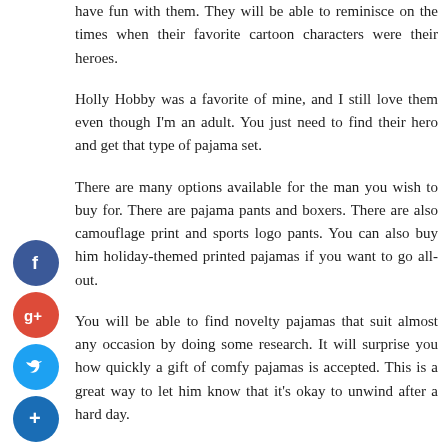have fun with them. They will be able to reminisce on the times when their favorite cartoon characters were their heroes.
Holly Hobby was a favorite of mine, and I still love them even though I'm an adult. You just need to find their hero and get that type of pajama set.
There are many options available for the man you wish to buy for. There are pajama pants and boxers. There are also camouflage print and sports logo pants. You can also buy him holiday-themed printed pajamas if you want to go all-out.
You will be able to find novelty pajamas that suit almost any occasion by doing some research. It will surprise you how quickly a gift of comfy pajamas is accepted. This is a great way to let him know that it's okay to unwind after a hard day.